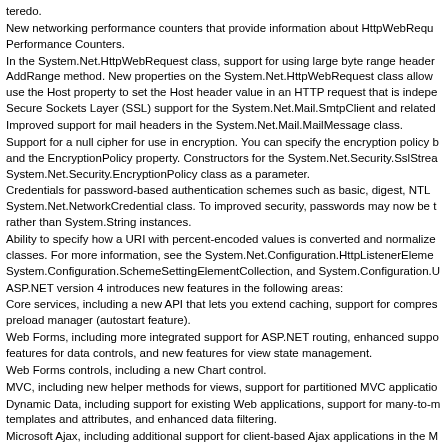teredo.
New networking performance counters that provide information about HttpWebRequest Performance Counters.
In the System.Net.HttpWebRequest class, support for using large byte range headers in the AddRange method. New properties on the System.Net.HttpWebRequest class allow use the Host property to set the Host header value in an HTTP request that is independently Secure Sockets Layer (SSL) support for the System.Net.Mail.SmtpClient and related
Improved support for mail headers in the System.Net.Mail.MailMessage class.
Support for a null cipher for use in encryption. You can specify the encryption policy by and the EncryptionPolicy property. Constructors for the System.Net.Security.SslStream System.Net.Security.EncryptionPolicy class as a parameter.
Credentials for password-based authentication schemes such as basic, digest, NTLM System.Net.NetworkCredential class. To improved security, passwords may now be transferred rather than System.String instances.
Ability to specify how a URI with percent-encoded values is converted and normalized classes. For more information, see the System.Net.Configuration.HttpListenerElement System.Configuration.SchemeSettingElementCollection, and System.Configuration.U
ASP.NET version 4 introduces new features in the following areas:
Core services, including a new API that lets you extend caching, support for compression preload manager (autostart feature).
Web Forms, including more integrated support for ASP.NET routing, enhanced support features for data controls, and new features for view state management.
Web Forms controls, including a new Chart control.
MVC, including new helper methods for views, support for partitioned MVC applications
Dynamic Data, including support for existing Web applications, support for many-to-m templates and attributes, and enhanced data filtering.
Microsoft Ajax, including additional support for client-based Ajax applications in the M
Visual Web Developer, including improved IntelliSense for JScript, new auto-complete enhanced CSS compatibility.
Deployment, including new tools for automating typical deployment tasks.
Multi-targeting, including better filtering for features that are not available in the target
For more information about these features, see What's New in ASP.NET 4 and Visual
Client
Windows Presentation Foundation
In the .NET Framework 4, Windows Presentation Foundation (WPF) contains changes controls, graphics, and XAML. For more information, see What's New in WPF Version
Back to top
Data